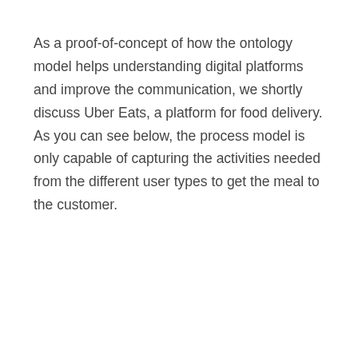As a proof-of-concept of how the ontology model helps understanding digital platforms and improve the communication, we shortly discuss Uber Eats, a platform for food delivery. As you can see below, the process model is only capable of capturing the activities needed from the different user types to get the meal to the customer.